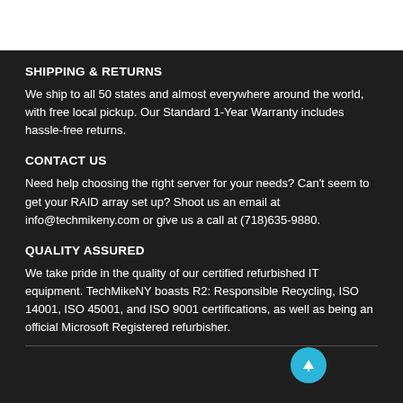SHIPPING & RETURNS
We ship to all 50 states and almost everywhere around the world, with free local pickup. Our Standard 1-Year Warranty includes hassle-free returns.
CONTACT US
Need help choosing the right server for your needs? Can’t seem to get your RAID array set up? Shoot us an email at info@techmikeny.com or give us a call at (718)635-9880.
QUALITY ASSURED
We take pride in the quality of our certified refurbished IT equipment. TechMikeNY boasts R2: Responsible Recycling, ISO 14001, ISO 45001, and ISO 9001 certifications, as well as being an official Microsoft Registered refurbisher.